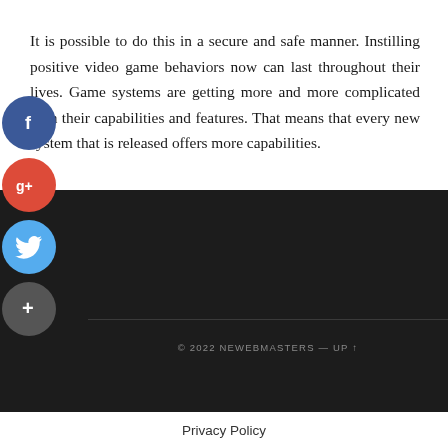It is possible to do this in a secure and safe manner. Instilling positive video game behaviors now can last throughout their lives. Game systems are getting more and more complicated with their capabilities and features. That means that every new system that is released offers more capabilities.
[Figure (other): Social media share buttons: Facebook (blue circle with f), Google+ (red circle with g+), Twitter (blue circle with bird), and a plus/add button (dark circle with +)]
© 2022 NEWEBMASTERS — UP ↑
Privacy Policy